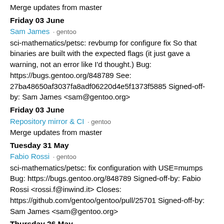Merge updates from master
Friday 03 June
Sam James · gentoo
sci-mathematics/petsc: revbump for configure fix So that binaries are built with the expected flags (it just gave a warning, not an error like I'd thought.) Bug: https://bugs.gentoo.org/848789 See: 27ba48650af3037fa8adf06220d4e5f1373f5885 Signed-off-by: Sam James <sam@gentoo.org>
Friday 03 June
Repository mirror & CI · gentoo
Merge updates from master
Tuesday 31 May
Fabio Rossi · gentoo
sci-mathematics/petsc: fix configuration with USE=mumps Bug: https://bugs.gentoo.org/848789 Signed-off-by: Fabio Rossi <rossi.f@inwind.it> Closes: https://github.com/gentoo/gentoo/pull/25701 Signed-off-by: Sam James <sam@gentoo.org>
Thursday 26 May
Repository mirror & CI · gentoo
Merge updates from master